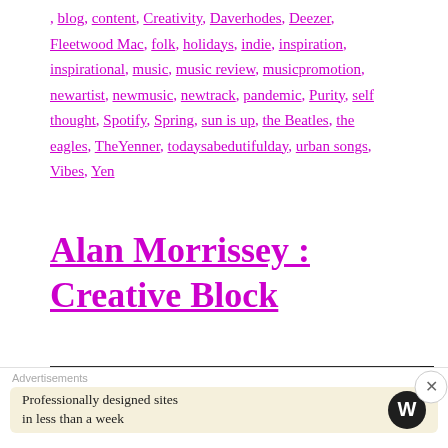, blog, content, Creativity, Daverhodes, Deezer, Fleetwood Mac, folk, holidays, indie, inspiration, inspirational, music, music review, musicpromotion, newartist, newmusic, newtrack, pandemic, Purity, self thought, Spotify, Spring, sun is up, the Beatles, the eagles, TheYenner, todaysabedutifulday, urban songs, Vibes, Yen
Alan Morrissey : Creative Block
[Figure (photo): Black and white photo showing handwritten cursive text 'Alan ...ey' on a dark background]
Advertisements
Professionally designed sites in less than a week